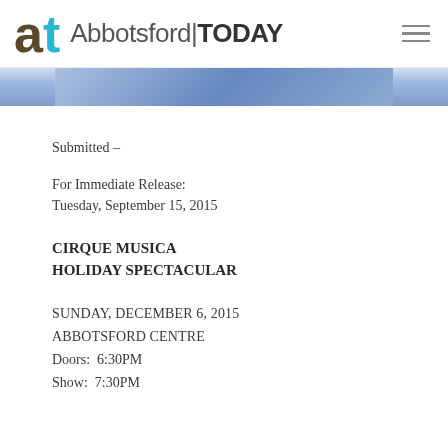at Abbotsford|TODAY
[Figure (photo): Partial view of a blue-toned image strip, likely a promotional photo]
Submitted –
For Immediate Release:
Tuesday, September 15, 2015
CIRQUE MUSICA
HOLIDAY SPECTACULAR
SUNDAY, DECEMBER 6, 2015
ABBOTSFORD CENTRE
Doors:  6:30PM
Show:  7:30PM